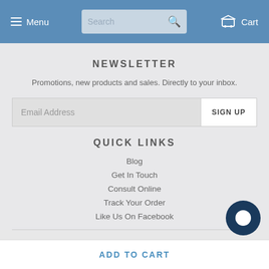Menu  Search  Cart
NEWSLETTER
Promotions, new products and sales. Directly to your inbox.
Email Address  SIGN UP
QUICK LINKS
Blog
Get In Touch
Consult Online
Track Your Order
Like Us On Facebook
ADD TO CART